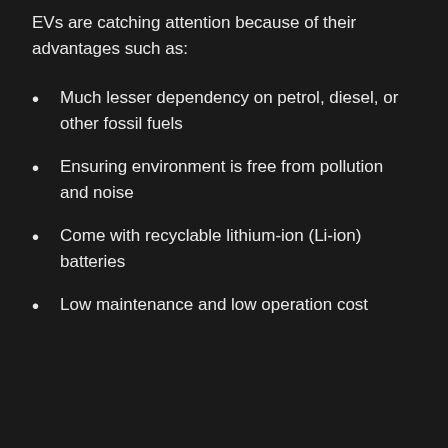EVs are catching attention because of their advantages such as:
Much lesser dependency on petrol, diesel, or other fossil fuels
Ensuring environment is free from pollution and noise
Come with recyclable lithium-ion (Li-ion) batteries
Low maintenance and low operation cost